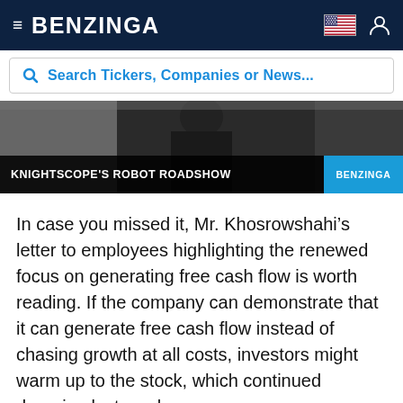BENZINGA
Search Tickers, Companies or News...
[Figure (screenshot): Video thumbnail showing a person in dark clothing with text overlay 'KNIGHTSCOPE'S ROBOT ROADSHOW' and a BENZINGA branded label on the right.]
In case you missed it, Mr. Khosrowshahi’s letter to employees highlighting the renewed focus on generating free cash flow is worth reading. If the company can demonstrate that it can generate free cash flow instead of chasing growth at all costs, investors might warm up to the stock, which continued dropping last week.